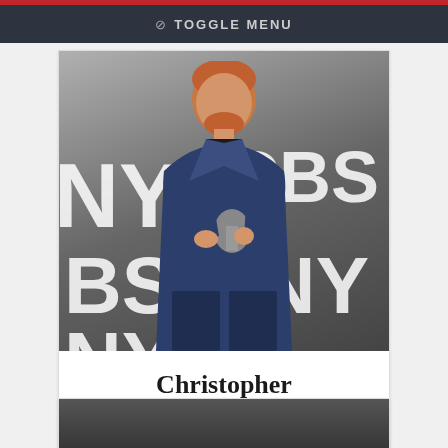⊘ TOGGLE MENU
[Figure (photo): Christopher Oram, a red-haired bearded man in a navy suit, holding a Tony Award trophy, standing in front of a CBS/Tony Awards backdrop with large block letters NY, CBS, BS, NY visible]
Christopher Oram
Vote for Christopher Oram
[Figure (photo): Partially visible second card showing another person's photo, cropped at bottom of page]